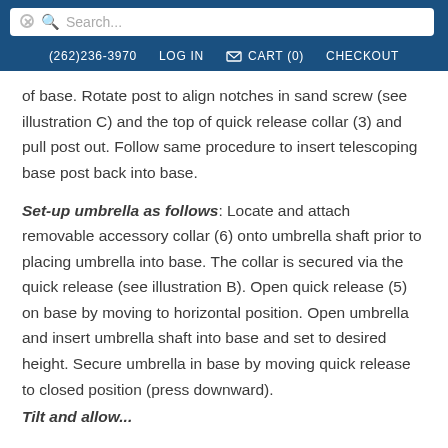Search... (262)236-3970  LOG IN  CART (0)  CHECKOUT
of base. Rotate post to align notches in sand screw (see illustration C) and the top of quick release collar (3) and pull post out. Follow same procedure to insert telescoping base post back into base.
Set-up umbrella as follows: Locate and attach removable accessory collar (6) onto umbrella shaft prior to placing umbrella into base. The collar is secured via the quick release (see illustration B). Open quick release (5) on base by moving to horizontal position. Open umbrella and insert umbrella shaft into base and set to desired height. Secure umbrella in base by moving quick release to closed position (press downward).
Tilt and allow...